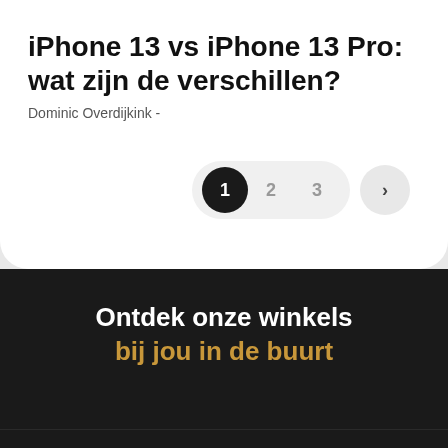iPhone 13 vs iPhone 13 Pro: wat zijn de verschillen?
Dominic Overdijkink -
[Figure (other): Pagination control with pages 1 (active), 2, 3 and a next arrow button]
Ontdek onze winkels bij jou in de buurt
[Figure (other): Bottom navigation bar with hamburger menu, search, Amac logo, heart/wishlist, and clipboard/bag icons]